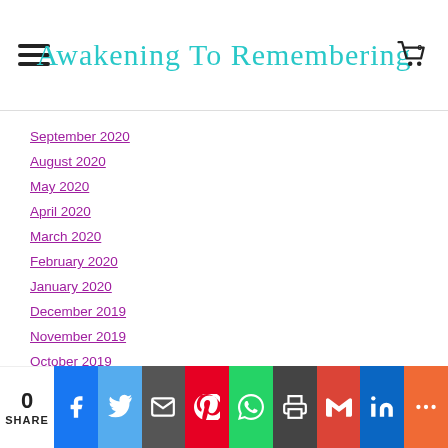Awakening To Remembering
September 2020
August 2020
May 2020
April 2020
March 2020
February 2020
January 2020
December 2019
November 2019
October 2019
September 2019
August 2019
July 2019
June 2019
May 2019
April 2019
0 SHARE — social share bar with Facebook, Twitter, Email, Pinterest, WhatsApp, Print, Gmail, LinkedIn, More